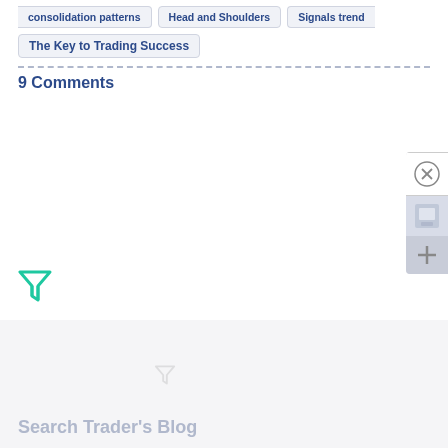Consolidation patterns
Head and Shoulders
Signals trend
The Key to Trading Success
9 Comments
Search Trader's Blog